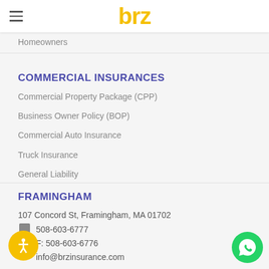brz
Homeowners
COMMERCIAL INSURANCES
Commercial Property Package (CPP)
Business Owner Policy (BOP)
Commercial Auto Insurance
Truck Insurance
General Liability
FRAMINGHAM
107 Concord St, Framingham, MA 01702
508-603-6777
F: 508-603-6776
info@brzinsurance.com